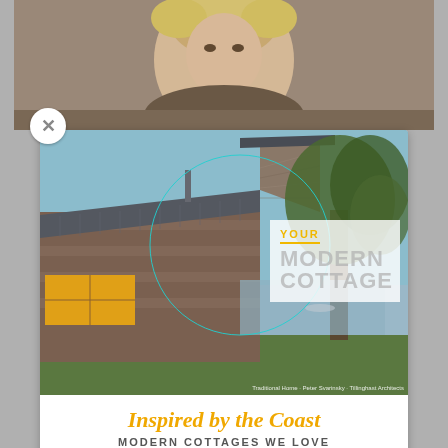[Figure (screenshot): Screenshot of a tablet/app showing a magazine cover popup. A close button (X) is visible. Background shows top of a person's head (blond hair). The popup card shows a photo of a modern coastal cottage with cedar shingle siding and metal roof, a teal circle overlay, a semi-transparent white box with 'YOUR MODERN COTTAGE' text, and below the image the title 'Inspired by the Coast' in italic orange serif font and subtitle 'MODERN COTTAGES WE LOVE' in uppercase gray sans-serif.]